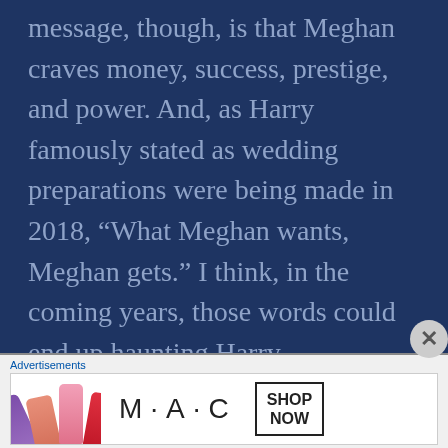message, though, is that Meghan craves money, success, prestige, and power. And, as Harry famously stated as wedding preparations were being made in 2018, “What Meghan wants, Meghan gets.” I think, in the coming years, those words could end up haunting Harry.
It must be heartbreaking for Her Majesty, the Queen, to see her grandson’s fall from public favor. I might even blame Harry, except I don’t think he was particularly
Advertisements
[Figure (illustration): MAC cosmetics advertisement banner showing colorful lipsticks on the left, MAC logo in the center, and a SHOP NOW button in a box on the right.]